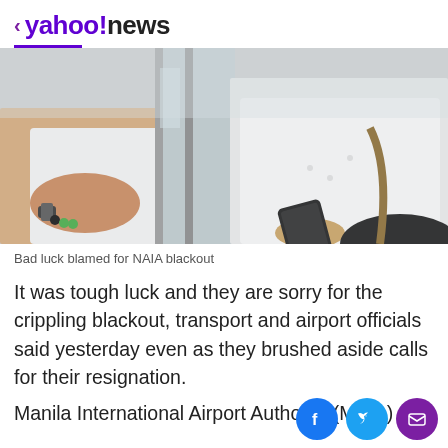< yahoo!news
[Figure (photo): Two people in white shirts at what appears to be an airport or office, one with arms crossed wearing a watch and bracelet, the other holding a smartphone near glass doors.]
Bad luck blamed for NAIA blackout
It was tough luck and they are sorry for the crippling blackout, transport and airport officials said yesterday even as they brushed aside calls for their resignation.
Manila International Airport Authority (MIAA) general